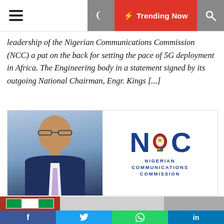Navigation bar with hamburger menu, moon icon, Trending Now button, and search icon
leadership of the Nigerian Communications Commission (NCC) a pat on the back for setting the pace of 5G deployment in Africa. The Engineering body in a statement signed by its outgoing National Chairman, Engr. Kings [...]
[Figure (photo): NCC official (man in suit smiling) on the left with the NCC (Nigerian Communications Commission) logo on the right]
Social share bar: Facebook, Twitter, WhatsApp, LinkedIn